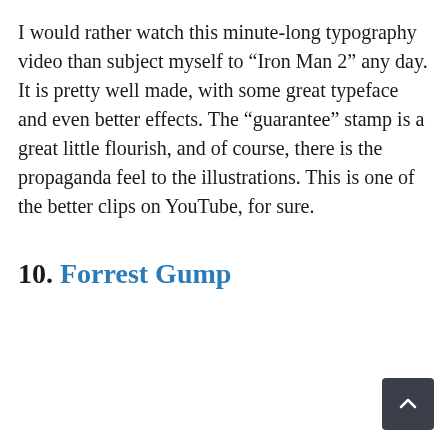I would rather watch this minute-long typography video than subject myself to “Iron Man 2” any day. It is pretty well made, with some great typeface and even better effects. The “guarantee” stamp is a great little flourish, and of course, there is the propaganda feel to the illustrations. This is one of the better clips on YouTube, for sure.
10. Forrest Gump